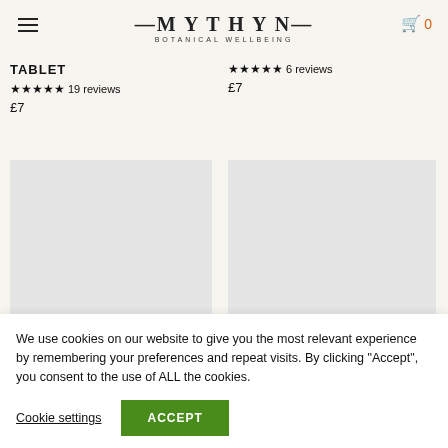MYTHYN BOTANICAL WELLBEING
TABLET ★★★★★ 19 reviews £7
★★★★★ 6 reviews £7
[Figure (photo): Product image placeholder (light grey rectangle) - left]
[Figure (photo): Product image placeholder (light grey rectangle) - right]
We use cookies on our website to give you the most relevant experience by remembering your preferences and repeat visits. By clicking "Accept", you consent to the use of ALL the cookies.
Cookie settings  ACCEPT